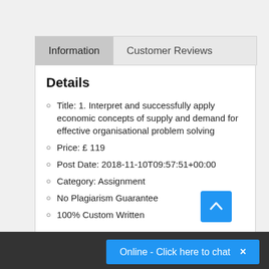Information | Customer Reviews
Details
Title: 1. Interpret and successfully apply economic concepts of supply and demand for effective organisational problem solving
Price: £ 119
Post Date: 2018-11-10T09:57:51+00:00
Category: Assignment
No Plagiarism Guarantee
100% Custom Written
Online - Click here to chat  ×